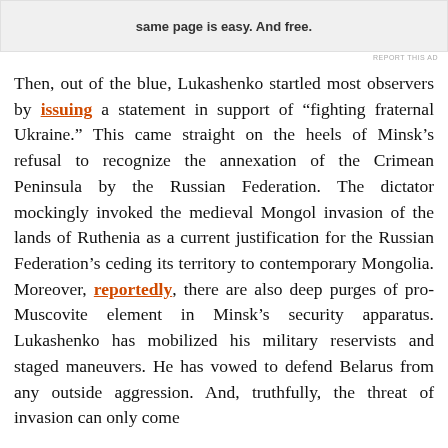[Figure (other): Advertisement banner with bold text: 'same page is easy. And free.']
Then, out of the blue, Lukashenko startled most observers by issuing a statement in support of “fighting fraternal Ukraine.” This came straight on the heels of Minsk’s refusal to recognize the annexation of the Crimean Peninsula by the Russian Federation. The dictator mockingly invoked the medieval Mongol invasion of the lands of Ruthenia as a current justification for the Russian Federation’s ceding its territory to contemporary Mongolia. Moreover, reportedly, there are also deep purges of pro-Muscovite element in Minsk’s security apparatus. Lukashenko has mobilized his military reservists and staged maneuvers. He has vowed to defend Belarus from any outside aggression. And, truthfully, the threat of invasion can only come